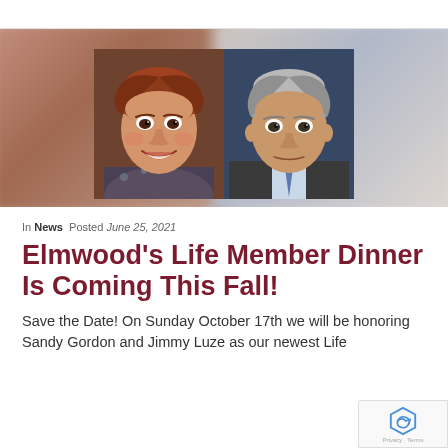[Figure (photo): Two portrait photos side by side: a woman with short reddish-brown hair smiling, and a man with short gray hair in a suit, against a blurred colorful background.]
In News  Posted June 25, 2021
Elmwood's Life Member Dinner Is Coming This Fall!
Save the Date! On Sunday October 17th we will be honoring Sandy Gordon and Jimmy Luze as our newest Life...